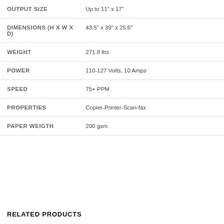| Specification | Value |
| --- | --- |
| OUTPUT SIZE | Up to 11" x 17" |
| DIMENSIONS (H X W X D) | 43.5" x 39" x 25.6" |
| WEIGHT | 271.8 lbs |
| POWER | 110-127 Volts, 10 Amps |
| SPEED | 75+ PPM |
| PROPERTIES | Copier-Printer-Scan-fax |
| PAPER WEIGTH | 200 gsm |
RELATED PRODUCTS